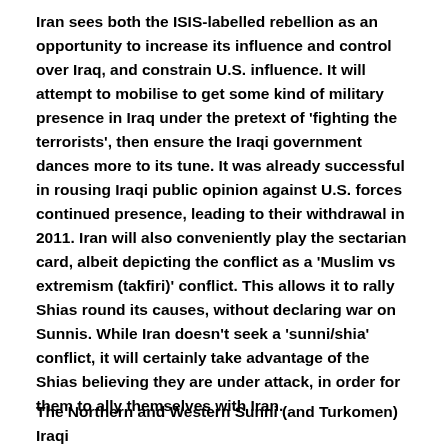Iran sees both the ISIS-labelled rebellion as an opportunity to increase its influence and control over Iraq, and constrain U.S. influence. It will attempt to mobilise to get some kind of military presence in Iraq under the pretext of 'fighting the terrorists', then ensure the Iraqi government dances more to its tune. It was already successful in rousing Iraqi public opinion against U.S. forces continued presence, leading to their withdrawal in 2011. Iran will also conveniently play the sectarian card, albeit depicting the conflict as a 'Muslim vs extremism (takfiri)' conflict. This allows it to rally Shias round its causes, without declaring war on Sunnis. While Iran doesn't seek a 'sunni/shia' conflict, it will certainly take advantage of the Shias believing they are under attack, in order for them to ally themselves with Iran.
The Northern and Western Sunni (and Turkomen) Iraqi